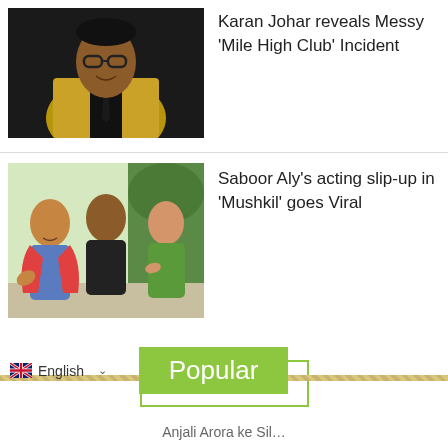[Figure (photo): Photo of Karan Johar in a gold sequin jacket and dark shirt/tie, against a dark background]
Karan Johar reveals Messy 'Mile High Club' Incident
[Figure (photo): Scene from drama 'Mushkil' showing three actors: a woman in colorful dupatta, a man in black t-shirt, and a woman in green outfit]
Saboor Aly's acting slip-up in 'Mushkil' goes Viral
MORE
English
Popular
Anjali Arora ke Sil...